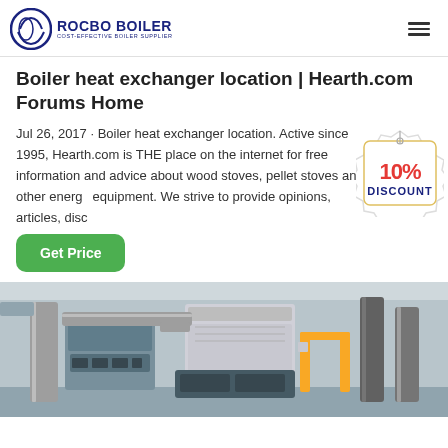ROCBO BOILER - COST-EFFECTIVE BOILER SUPPLIER
Boiler heat exchanger location | Hearth.com Forums Home
Jul 26, 2017 · Boiler heat exchanger location. Active since 1995, Hearth.com is THE place on the internet for free information and advice about wood stoves, pellet stoves and other energy equipment. We strive to provide opinions, articles, disc...
[Figure (other): 10% DISCOUNT badge/sticker overlay on the page content]
[Figure (photo): Industrial boiler room with large metal pipes, heat exchangers, and boiler equipment in a gray-walled facility]